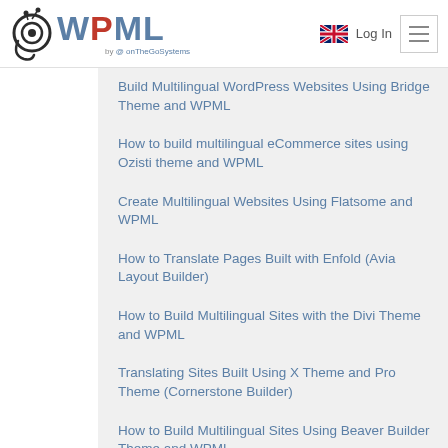WPML by onTheGoSystems — Log In
Build Multilingual WordPress Websites Using Bridge Theme and WPML
How to build multilingual eCommerce sites using Ozisti theme and WPML
Create Multilingual Websites Using Flatsome and WPML
How to Translate Pages Built with Enfold (Avia Layout Builder)
How to Build Multilingual Sites with the Divi Theme and WPML
Translating Sites Built Using X Theme and Pro Theme (Cornerstone Builder)
How to Build Multilingual Sites Using Beaver Builder Theme and WPML
Create Multilingual WordPress